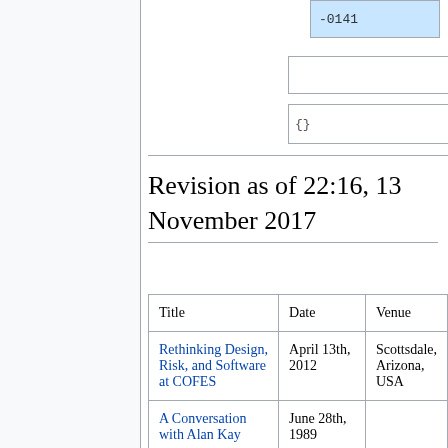[Figure (screenshot): Editing interface showing input boxes with -0141 in blue highlighted box, two empty input rows, and two rows with {} template placeholders]
Revision as of 22:16, 13 November 2017
| Title | Date | Venue |
| --- | --- | --- |
| Rethinking Design, Risk, and Software at COFES | April 13th, 2012 | Scottsdale, Arizona, USA |
| A Conversation with Alan Kay | June 28th, 1989 |  |
| Alan Kay at Computerland | October, 1991 |  |